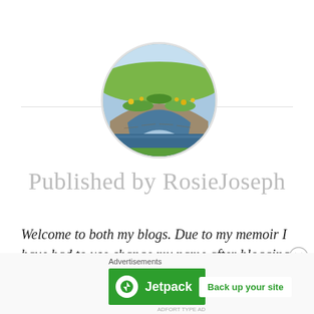[Figure (photo): Circular avatar photo showing a stone arch bridge with moss and yellow flowers, reflecting in water below, with a blue sky background]
Published by RosieJoseph
Welcome to both my blogs. Due to my memoir I have had to use change my name after blogging for four years and use my new pseudonym: Rosie Joseph. I thought I would use my parents second names because I know they would
Advertisements
[Figure (screenshot): Jetpack advertisement banner with green background showing Jetpack logo and 'Back up your site' button]